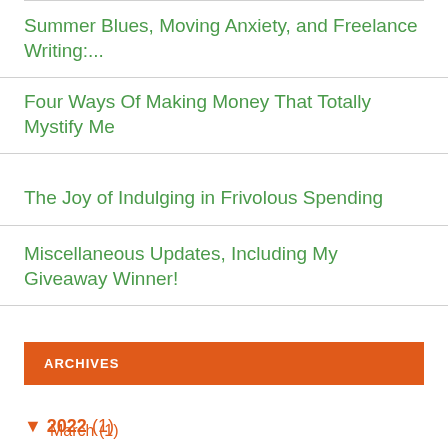Summer Blues, Moving Anxiety, and Freelance Writing:...
Four Ways Of Making Money That Totally Mystify Me
The Joy of Indulging in Frivolous Spending
Miscellaneous Updates, Including My Giveaway Winner!
ARCHIVES
▼ 2022 (1)
March (1)